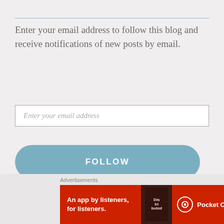Enter your email address to follow this blog and receive notifications of new posts by email.
Enter your email address
FOLLOW
Join 6,114 other followers
INSTAGRAM
Advertisements
[Figure (screenshot): Pocket Casts advertisement banner: red background with text 'An app by listeners, for listeners.' and Pocket Casts logo on right, phone image in center showing app text 'Distributed']